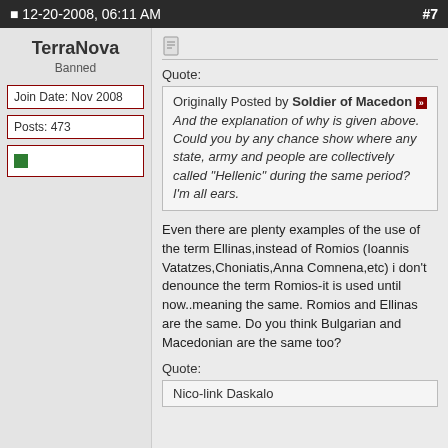12-20-2008, 06:11 AM  #7
TerraNova
Banned
Join Date: Nov 2008
Posts: 473
[Figure (other): Green reputation dot indicator]
Originally Posted by Soldier of Macedon
And the explanation of why is given above. Could you by any chance show where any state, army and people are collectively called "Hellenic" during the same period? I'm all ears.
Even there are plenty examples of the use of the term Ellinas,instead of Romios (Ioannis Vatatzes,Choniatis,Anna Comnena,etc) i don't denounce the term Romios-it is used until now..meaning the same. Romios and Ellinas are the same. Do you think Bulgarian and Macedonian are the same too?
Nico-link Daskalo